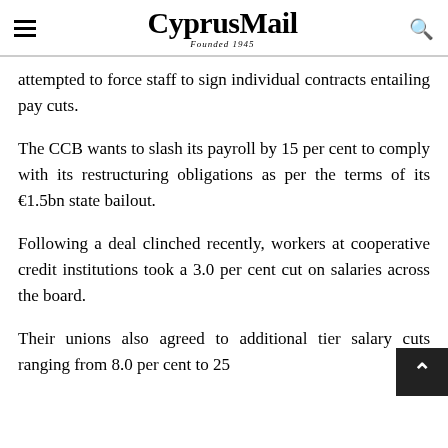CyprusMail — Founded 1945
attempted to force staff to sign individual contracts entailing pay cuts.
The CCB wants to slash its payroll by 15 per cent to comply with its restructuring obligations as per the terms of its €1.5bn state bailout.
Following a deal clinched recently, workers at cooperative credit institutions took a 3.0 per cent cut on salaries across the board.
Their unions also agreed to additional tier salary cuts ranging from 8.0 per cent to 25